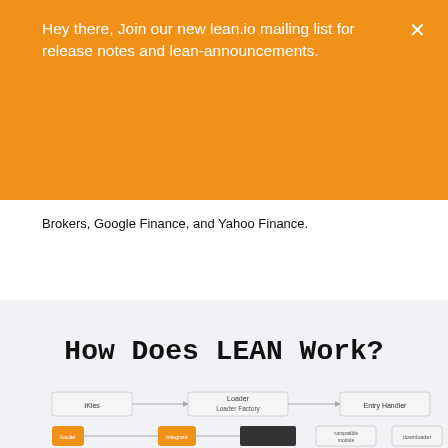Hey there, Join our new lean.io mailing list for release notes and lean-announcements.
Subscribe
Brokers, Google Finance, and Yahoo Finance.
How Does LEAN Work?
[Figure (flowchart): Partial flowchart diagram showing LEAN system components including IKles, Loader, Loader Factory, Entry Handler, and other nodes connected by arrows]